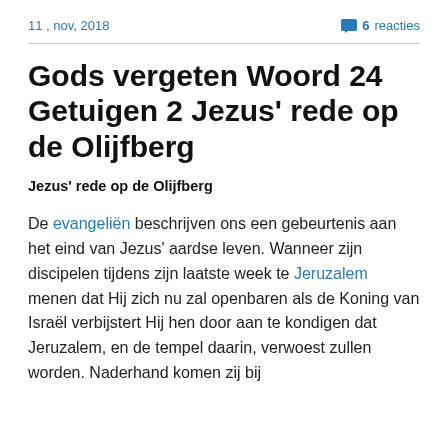11 , nov, 2018   6 reacties
Gods vergeten Woord 24 Getuigen 2 Jezus' rede op de Olijfberg
Jezus' rede op de Olijfberg
De evangeliën beschrijven ons een gebeurtenis aan het eind van Jezus' aardse leven. Wanneer zijn discipelen tijdens zijn laatste week te Jeruzalem menen dat Hij zich nu zal openbaren als de Koning van Israël verbijstert Hij hen door aan te kondigen dat Jeruzalem, en de tempel daarin, verwoest zullen worden. Naderhand komen zij bij